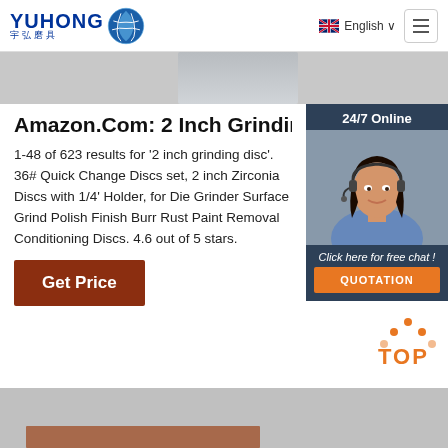[Figure (logo): Yuhong logo with Chinese characters and blue globe icon]
English
[Figure (screenshot): Gray banner area with partial product image]
Amazon.Com: 2 Inch Grinding Di:
1-48 of 623 results for '2 inch grinding disc'. 36# Quick Change Discs set, 2 inch Zirconia Discs with 1/4' Holder, for Die Grinder Surface Grind Polish Finish Burr Rust Paint Removal Conditioning Discs. 4.6 out of 5 stars.
Get Price
[Figure (photo): Chat support agent - woman with headset, 24/7 Online badge, Click here for free chat!, QUOTATION button]
[Figure (illustration): TOP button with orange dots and text]
[Figure (photo): Bottom gray and brown banner area]